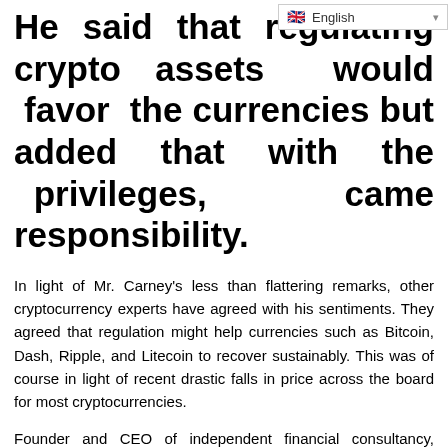He said that reg[ulating crypto] assets would favor the currencies but added that with the privileges, came responsibility.
In light of Mr. Carney's less than flattering remarks, other cryptocurrency experts have agreed with his sentiments. They agreed that regulation might help currencies such as Bitcoin, Dash, Ripple, and Litecoin to recover sustainably. This was of course in light of recent drastic falls in price across the board for most cryptocurrencies.
Founder and CEO of independent financial consultancy, deVere Group, Nigel Green also lent his support for regulation, saying the same was essential. He stated that...